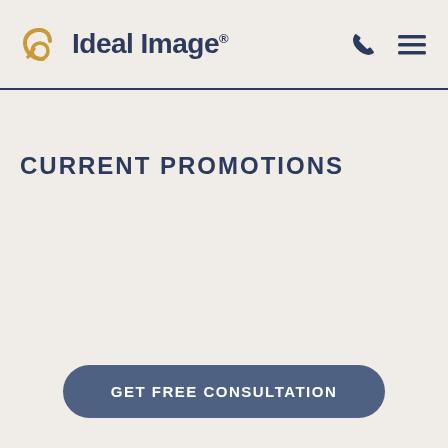Ideal Image®
CURRENT PROMOTIONS
GET FREE CONSULTATION